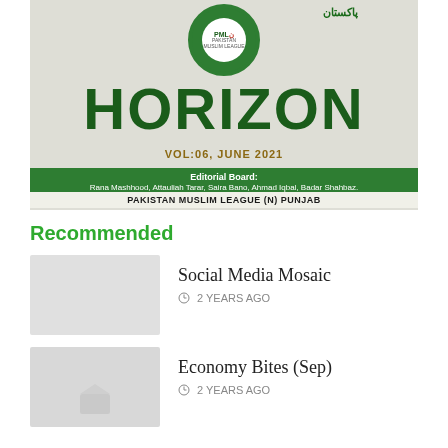[Figure (illustration): Cover image of Horizon magazine Vol:06, June 2021 by Pakistan Muslim League (N) Punjab. Features the PMLN logo/emblem (green circle), large bold green HORIZON title, golden VOL:06 JUNE 2021 subtitle, green editorial board bar with names, and organization name at bottom.]
Recommended
Social Media Mosaic
2 YEARS AGO
Economy Bites (Sep)
2 YEARS AGO